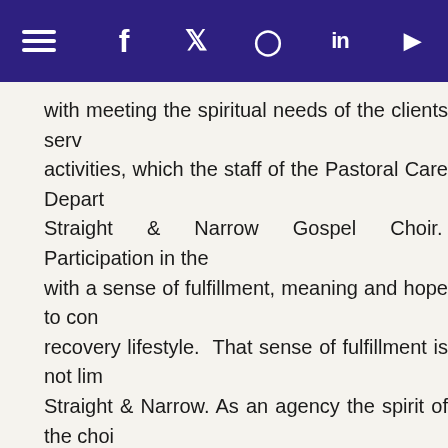Navigation bar with hamburger menu and social media icons: Facebook, Twitter, Instagram, LinkedIn, YouTube
with meeting the spiritual needs of the clients served activities, which the staff of the Pastoral Care Depart Straight & Narrow Gospel Choir. Participation in the with a sense of fulfillment, meaning and hope to con recovery lifestyle. That sense of fulfillment is not lim Straight & Narrow. As an agency the spirit of the choi employed here; to the credit of the agency's former late Father Norman J. O'Connor.
The Straight and Narrow Gospel Choir originated wit Executive Director the late Father Norman J. O'Con known as "the jazz priest" for his work in the Roman C commentary on jazz. After his ordination as a Paulist a decade as Catholic chaplain at Boston Universit